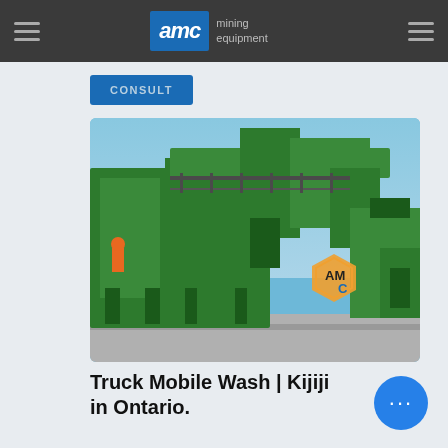AMC mining equipment
CONSULT
[Figure (photo): Large green industrial mining washing/screening equipment machine outdoors against blue sky, with AMC logo visible on equipment]
Truck Mobile Wash | Kijiji in Ontario.